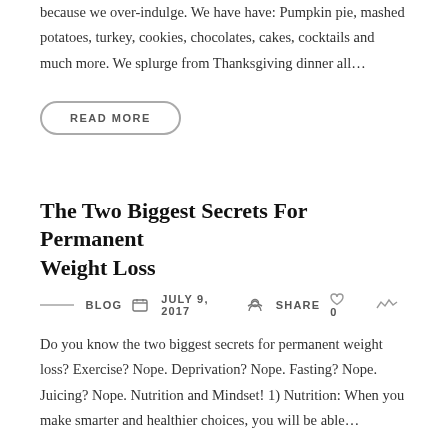because we over-indulge. We have have: Pumpkin pie, mashed potatoes, turkey, cookies, chocolates, cakes, cocktails and much more. We splurge from Thanksgiving dinner all…
READ MORE
The Two Biggest Secrets For Permanent Weight Loss
BLOG   JULY 9, 2017   SHARE   0
Do you know the two biggest secrets for permanent weight loss? Exercise? Nope. Deprivation? Nope. Fasting? Nope. Juicing? Nope. Nutrition and Mindset! 1) Nutrition: When you make smarter and healthier choices, you will be able…
READ MORE